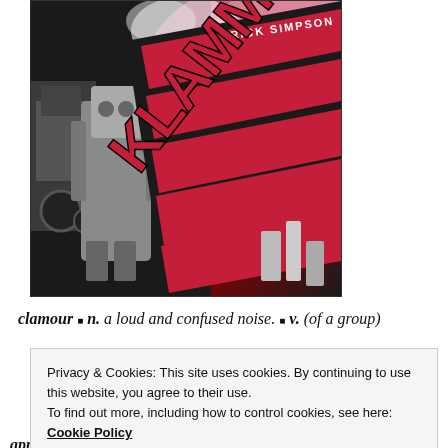[Figure (illustration): Album cover for 'Klammer' by Rick Simpson. Features a red and black diagonal banner with the word KLAMMER in large red block letters and RICK SIMPSON in white text above. Left side shows a grey robotic/space-suited figure and a dark locomotive. Background is a deep pink/red wash with black elements.]
clamour ■ n. a loud and confused noise. ■ v. (of a group)
Privacy & Cookies: This site uses cookies. By continuing to use this website, you agree to their use.
To find out more, including how to control cookies, see here: Cookie Policy
Close and accept
approach to jazz.